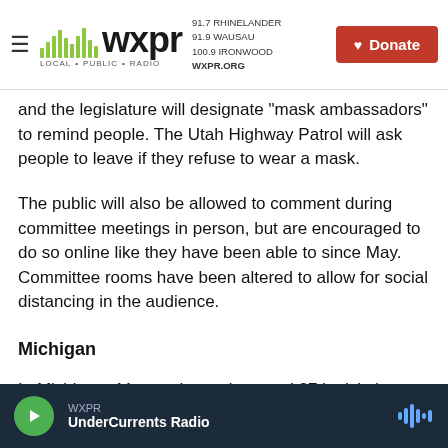WXPR LOCAL PUBLIC RADIO | 91.7 RHINELANDER 91.9 WAUSAU 100.9 IRONWOOD WXPR.ORG | Donate
and the legislature will designate "mask ambassadors" to remind people. The Utah Highway Patrol will ask people to leave if they refuse to wear a mask.
The public will also be allowed to comment during committee meetings in person, but are encouraged to do so online like they have been able to since May. Committee rooms have been altered to allow for social distancing in the audience.
Michigan
In Michigan, 11 state lawmakers and 37 legislative
WXPR | UnderCurrents Radio